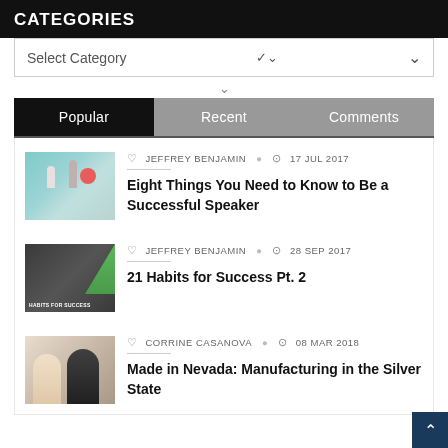CATEGORIES
Select Category
Popular | Recent | Comments
JEFFREY BENJAMIN  17 JUL 2017
Eight Things You Need to Know to Be a Successful Speaker
JEFFREY BENJAMIN  28 SEP 2017
21 Habits for Success Pt. 2
CORRINE CASANOVA  08 MAR 2018
Made in Nevada: Manufacturing in the Silver State